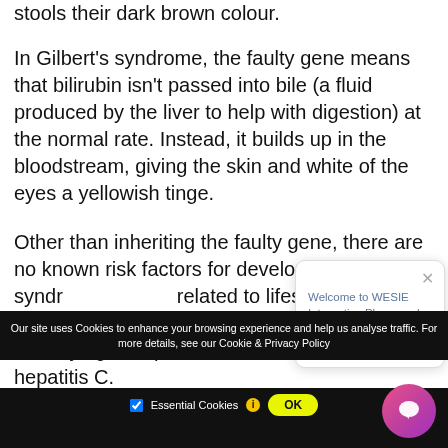stools their dark brown colour.
In Gilbert's syndrome, the faulty gene means that bilirubin isn't passed into bile (a fluid produced by the liver to help with digestion) at the normal rate. Instead, it builds up in the bloodstream, giving the skin and white of the eyes a yellowish tinge.
Other than inheriting the faulty gene, there are no known risk factors for developing Gilbert's syndrome. It's not related to lifestyle habits, environmental factors or serious underlying liver problems such as cirrhosis or hepatitis C.
[Figure (screenshot): Chat popup overlay from WESIE Integrative Pharmacy with close button and text: Welcome to WESIE Integrative Pharmacy! How can we help you today?]
Our site uses Cookies to enhance your browsing experience and help us analyse traffic. For more details, see our Cookie & Privacy Policy. Essential Cookies [i] OK